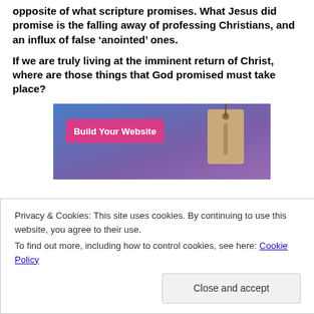opposite of what scripture promises. What Jesus did promise is the falling away of professing Christians, and an influx of false ‘anointed’ ones.
If we are truly living at the imminent return of Christ, where are those things that God promised must take place?
[Figure (screenshot): Advertisement banner with gradient blue-purple background, a pink 'Build Your Website' button on the left, and a tan/beige price tag icon on the right.]
Privacy & Cookies: This site uses cookies. By continuing to use this website, you agree to their use.
To find out more, including how to control cookies, see here: Cookie Policy
Close and accept